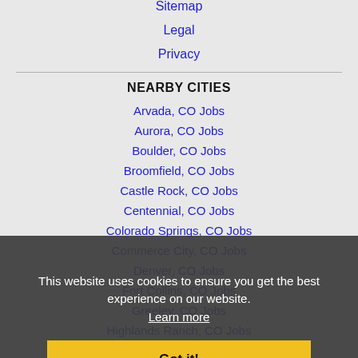Sitemap
Legal
Privacy
NEARBY CITIES
Arvada, CO Jobs
Aurora, CO Jobs
Boulder, CO Jobs
Broomfield, CO Jobs
Castle Rock, CO Jobs
Centennial, CO Jobs
Colorado Springs, CO Jobs
Commerce City, CO Jobs
Denver, CO Jobs
Fort Collins, CO Jobs
Greeley, CO Jobs
Highlands Ranch, CO Jobs
Lakewood, CO Jobs
This website uses cookies to ensure you get the best experience on our website. Learn more
Got it!